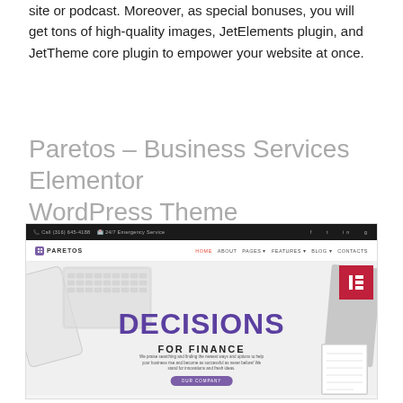site or podcast. Moreover, as special bonuses, you will get tons of high-quality images, JetElements plugin, and JetTheme core plugin to empower your website at once.
Paretos – Business Services Elementor WordPress Theme
[Figure (screenshot): Screenshot of Paretos WordPress theme homepage showing a dark top bar, white navigation with logo and links, and a hero section with the text DECISIONS FOR FINANCE over a light background with phone, keyboard and notebook decorative elements, plus an Elementor badge]